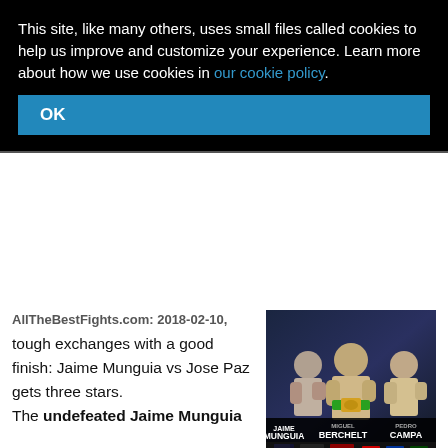This site, like many others, uses small files called cookies to help us improve and customize your experience. Learn more about how we use cookies in our cookie policy.
OK
AllTheBestFights.com: 2018-02-10, tough exchanges with a good finish: Jaime Munguia vs Jose Paz gets three stars.
[Figure (photo): Boxing event promotional photo showing Jaime Munguia, Miguel Berchelt, and Pedro Campa with sponsor logos]
The undefeated Jaime Munguia entered this fight with a perfect boxing record of 26-0-0 (22 KOs=85%) and he is ranked as the No.34 super welterweight in the world. He fought seven times last year winning over Miguel Angel Lopez, Uriel Gonzalez and Paul Valenzuela Jr in his last three. His opponent, Jose Carlos Paz, has an official record of 21-6-1 (12 knockouts) and he entered as the [CLOSE] n the